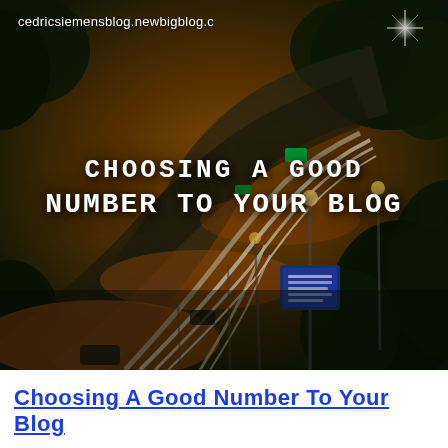cedricsiemensblog.newbigblog.c
[Figure (photo): Aerial night-time photo of a busy city road with light trails from vehicles, green traffic lights, and illuminated trees, taken from above]
cHoosINg a Good NuMber to your Blog
Choosing A Good Number To Your Blog